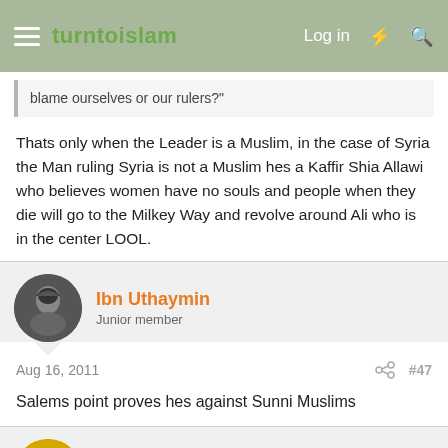turntoislam — Log in
blame ourselves or our rulers?"
Thats only when the Leader is a Muslim, in the case of Syria the Man ruling Syria is not a Muslim hes a Kaffir Shia Allawi who believes women have no souls and people when they die will go to the Milkey Way and revolve around Ali who is in the center LOOL.
Ibn Uthaymin
Junior member
Aug 16, 2011
#47
Salems point proves hes against Sunni Muslims
ShahnazZ
Striving2BeAStranger